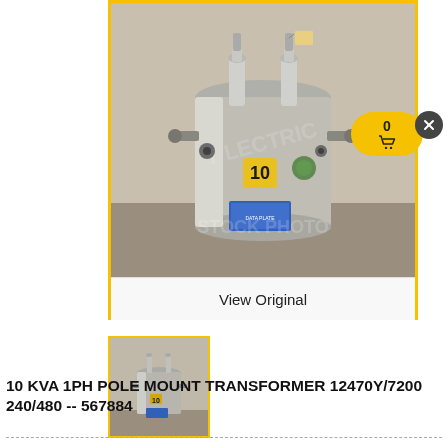[Figure (photo): A gray cylindrical pole-mounted transformer with two high-voltage bushings on top, a yellow number 10 label, and a blue data plate on the front. The transformer sits on a wooden surface. Watermark text reads 'STOCK PHOTO' and 'T...LECTRIC'.]
View Original
[Figure (photo): Thumbnail image of the same gray pole-mounted transformer.]
10 KVA 1PH POLE MOUNT TRANSFORMER 12470Y/7200 240/480 -- 567884